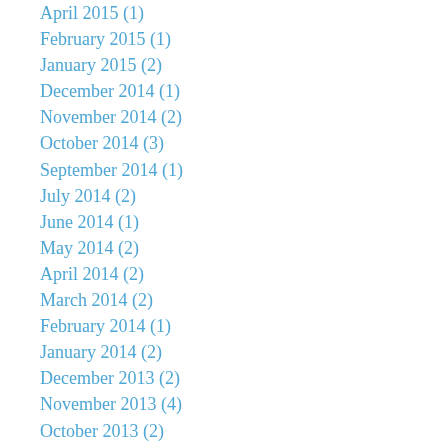April 2015 (1)
February 2015 (1)
January 2015 (2)
December 2014 (1)
November 2014 (2)
October 2014 (3)
September 2014 (1)
July 2014 (2)
June 2014 (1)
May 2014 (2)
April 2014 (2)
March 2014 (2)
February 2014 (1)
January 2014 (2)
December 2013 (2)
November 2013 (4)
October 2013 (2)
September 2013 (3)
August 2013 (3)
July 2013 (1)